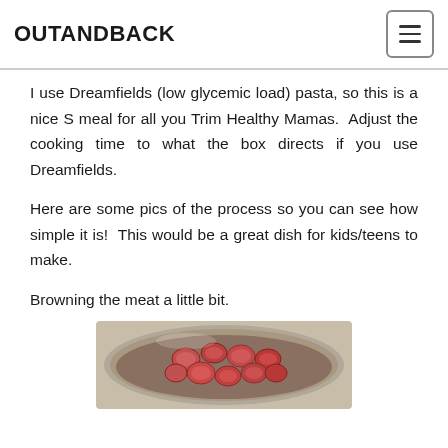OUTANDBACK
I use Dreamfields (low glycemic load) pasta, so this is a nice S meal for all you Trim Healthy Mamas.  Adjust the cooking time to what the box directs if you use Dreamfields.
Here are some pics of the process so you can see how simple it is!  This would be a great dish for kids/teens to make.
Browning the meat a little bit.
[Figure (photo): Photo of sliced sausage pieces browning in a large stainless steel skillet/pan, viewed from above.]